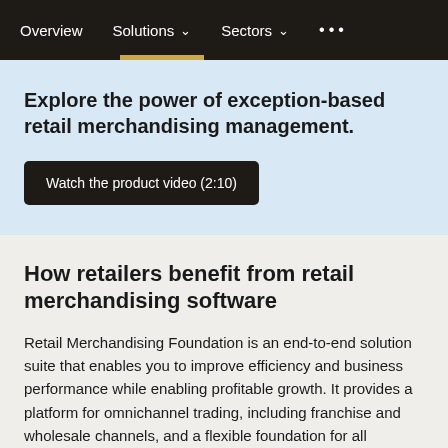Overview  Solutions  Sectors  ...
Explore the power of exception-based retail merchandising management.
Watch the product video (2:10)
How retailers benefit from retail merchandising software
Retail Merchandising Foundation is an end-to-end solution suite that enables you to improve efficiency and business performance while enabling profitable growth. It provides a platform for omnichannel trading, including franchise and wholesale channels, and a flexible foundation for all merchandise types with accurate